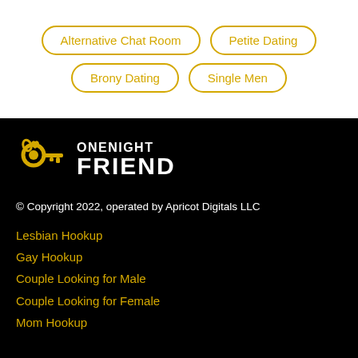Alternative Chat Room
Petite Dating
Brony Dating
Single Men
[Figure (logo): OneNight Friend logo — yellow key icon with a heart, next to text 'ONENIGHT FRIEND' in white bold uppercase on black background]
© Copyright 2022, operated by Apricot Digitals LLC
Lesbian Hookup
Gay Hookup
Couple Looking for Male
Couple Looking for Female
Mom Hookup